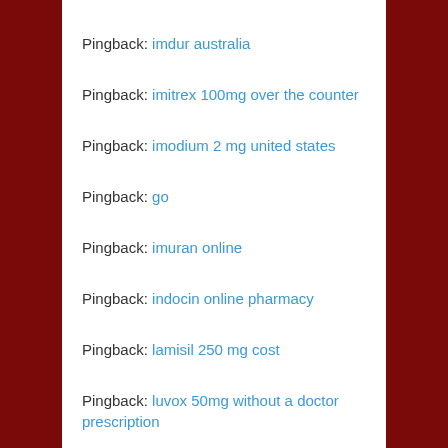Pingback: imdur australia
Pingback: imitrex 100mg over the counter
Pingback: imodium 2 mg united states
Pingback: go
Pingback: imuran online
Pingback: indocin online pharmacy
Pingback: lamisil 250 mg cost
Pingback: luvox 50mg without a doctor prescription
Pingback: macrobid no prescription
Pingback: meclizine online
Pingback: [partially visible]